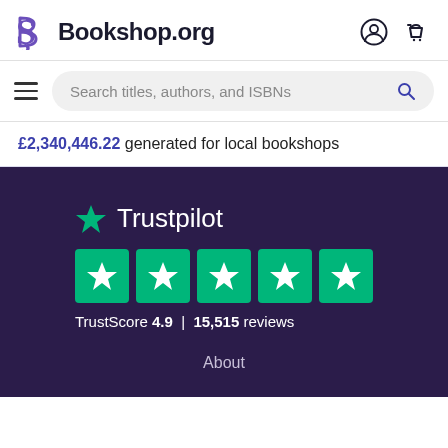[Figure (logo): Bookshop.org logo with stylized B and text, plus account and cart icons]
[Figure (screenshot): Search bar with placeholder text 'Search titles, authors, and ISBNs' and hamburger menu]
£2,340,446.22 generated for local bookshops
[Figure (logo): Trustpilot logo with green star, five green star rating boxes, TrustScore 4.9 | 15,515 reviews]
About